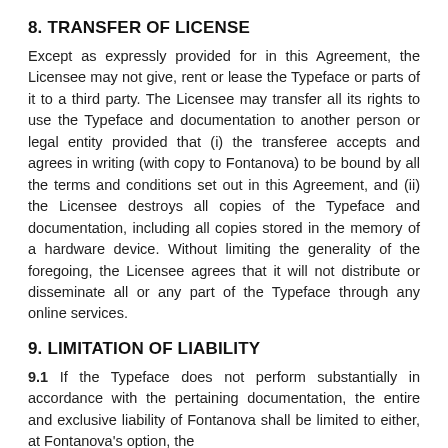8. TRANSFER OF LICENSE
Except as expressly provided for in this Agreement, the Licensee may not give, rent or lease the Typeface or parts of it to a third party. The Licensee may transfer all its rights to use the Typeface and documentation to another person or legal entity provided that (i) the transferee accepts and agrees in writing (with copy to Fontanova) to be bound by all the terms and conditions set out in this Agreement, and (ii) the Licensee destroys all copies of the Typeface and documentation, including all copies stored in the memory of a hardware device. Without limiting the generality of the foregoing, the Licensee agrees that it will not distribute or disseminate all or any part of the Typeface through any online services.
9. LIMITATION OF LIABILITY
9.1 If the Typeface does not perform substantially in accordance with the pertaining documentation, the entire and exclusive liability of Fontanova shall be limited to either, at Fontanova’s option, the